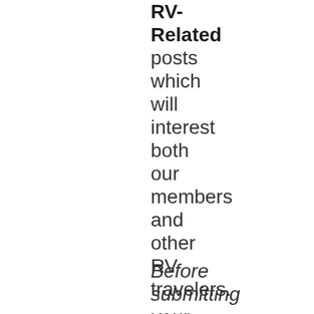RV-Related posts which will interest both our members and other RV travelers.
Before submitting your